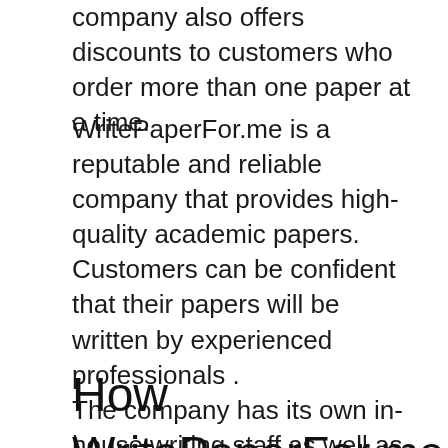company also offers discounts to customers who order more than one paper at a time.
WritePaperFor.me is a reputable and reliable company that provides high-quality academic papers. Customers can be confident that their papers will be written by experienced professionals . The company has its own in-house writing staff as well as hired writers. When you order from WritePaperFor.me, you can be sure that your name will be checked for inclusion on any blacklists or barred from buying certain privileges.
How WritePaperFor.me